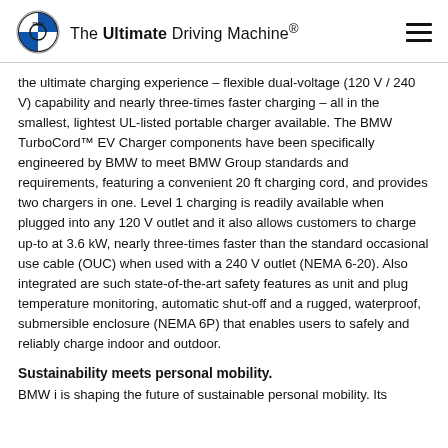The Ultimate Driving Machine®
the ultimate charging experience – flexible dual-voltage (120 V / 240 V) capability and nearly three-times faster charging – all in the smallest, lightest UL-listed portable charger available. The BMW TurboCord™ EV Charger components have been specifically engineered by BMW to meet BMW Group standards and requirements, featuring a convenient 20 ft charging cord, and provides two chargers in one. Level 1 charging is readily available when plugged into any 120 V outlet and it also allows customers to charge up-to at 3.6 kW, nearly three-times faster than the standard occasional use cable (OUC) when used with a 240 V outlet (NEMA 6-20). Also integrated are such state-of-the-art safety features as unit and plug temperature monitoring, automatic shut-off and a rugged, waterproof, submersible enclosure (NEMA 6P) that enables users to safely and reliably charge indoor and outdoor.
Sustainability meets personal mobility.
BMW i is shaping the future of sustainable personal mobility. Its